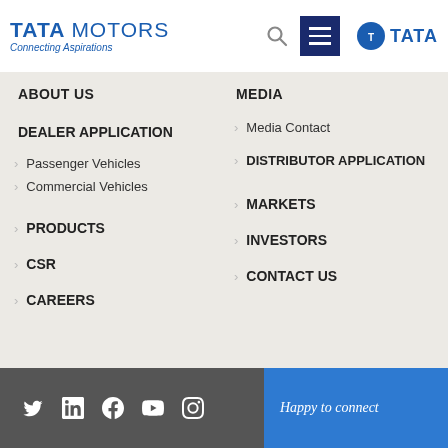TATA MOTORS - Connecting Aspirations
ABOUT US
MEDIA
Media Contact
DEALER APPLICATION
Passenger Vehicles
Commercial Vehicles
DISTRIBUTOR APPLICATION
PRODUCTS
MARKETS
CSR
INVESTORS
CAREERS
CONTACT US
Happy to connect